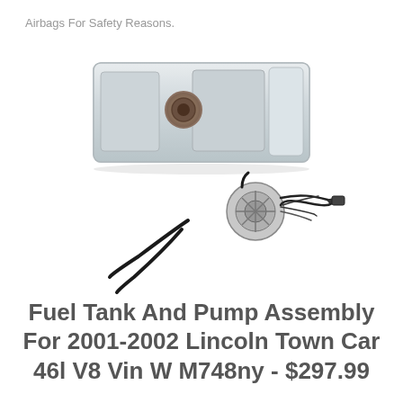Airbags For Safety Reasons.
[Figure (photo): A fuel tank (large rectangular silver metal tank) shown above a fuel pump assembly with black hoses/lines and wiring harness.]
Fuel Tank And Pump Assembly For 2001-2002 Lincoln Town Car 46l V8 Vin W M748ny - $297.99